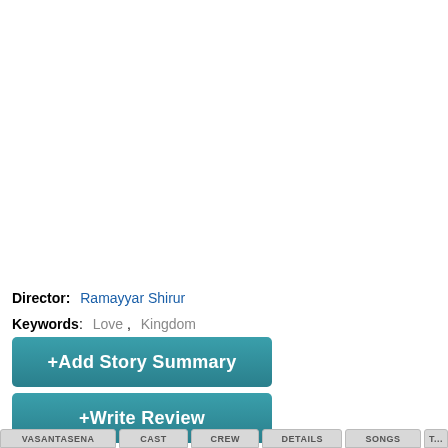Director:  Ramayyar Shirur
Keywords:   Love ,   Kingdom
+Add Story Summary
+Write Review
VASANTASENA   CAST   CREW   DETAILS   SONGS   T...